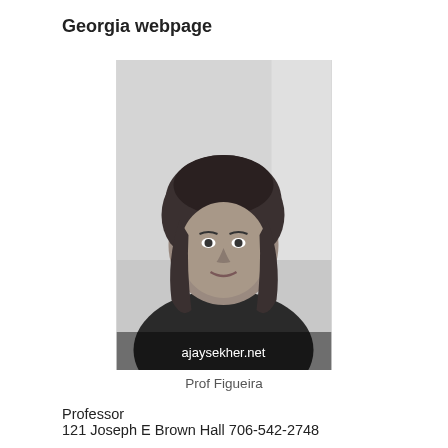Georgia webpage
[Figure (photo): Black and white portrait photo of Prof Figueira, a woman with medium-length wavy hair, with watermark text 'ajaysekher.net']
Prof Figueira
Professor
121 Joseph E Brown Hall 706-542-2748
figueira@uga.edu
Dorothy Figueira holds graduate degrees in the history of religion and theology from Paris and Harvard and a Ph.D. from the University of Chicago in Comparative Literature. Her scholarly interests include religion and literature, translation theory,